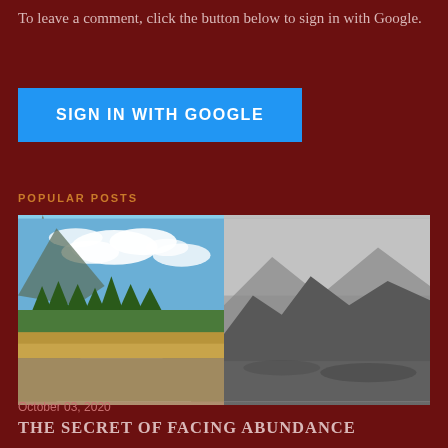To leave a comment, click the button below to sign in with Google.
SIGN IN WITH GOOGLE
POPULAR POSTS
[Figure (photo): Two side-by-side outdoor photos: left shows a sunny mountain trail with evergreen trees, blue sky and clouds; right shows a grey misty mountain landscape in black and white.]
October 03, 2020
THE SECRET OF FACING ABUNDANCE